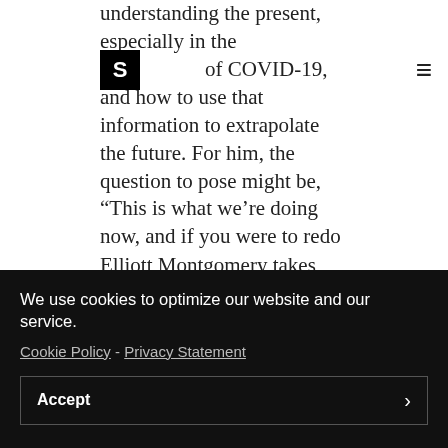understanding the present, especially in the ■ of COVID-19, and how to use that information to extrapolate the future. For him, the question to pose might be, “This is what we’re doing now, and if you were to redo Zoom or Skype from scratch, how would you re-imagine it? Would it be the way it is today?”
S [logo] ≡ [hamburger menu]
Elliott Montgomery takes this idea a bit
We use cookies to optimize our website and our service.
Cookie Policy - Privacy Statement
Accept >
if it sounds ridiculous